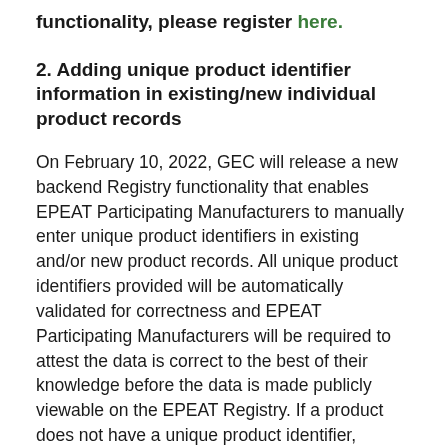functionality, please register here.
2. Adding unique product identifier information in existing/new individual product records
On February 10, 2022, GEC will release a new backend Registry functionality that enables EPEAT Participating Manufacturers to manually enter unique product identifiers in existing and/or new product records. All unique product identifiers provided will be automatically validated for correctness and EPEAT Participating Manufacturers will be required to attest the data is correct to the best of their knowledge before the data is made publicly viewable on the EPEAT Registry. If a product does not have a unique product identifier, Participating Manufacturers will be required to